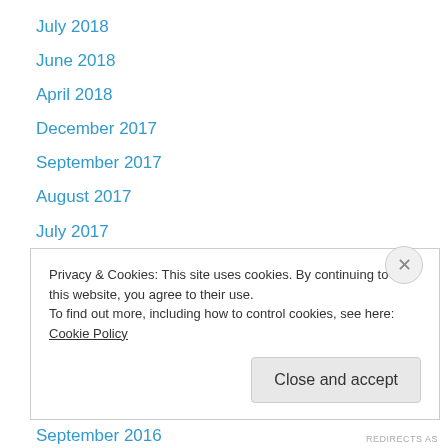July 2018
June 2018
April 2018
December 2017
September 2017
August 2017
July 2017
June 2017
February 2017
January 2017
December 2016
October 2016
September 2016
Privacy & Cookies: This site uses cookies. By continuing to use this website, you agree to their use.
To find out more, including how to control cookies, see here: Cookie Policy
REDIRECTS AS